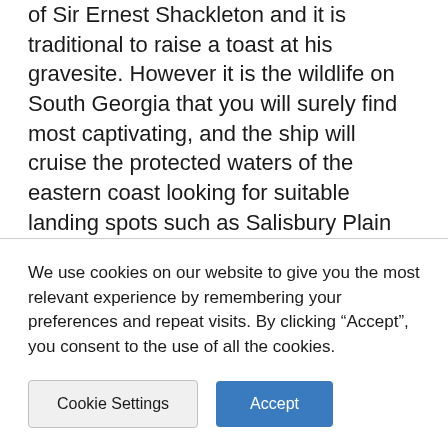of Sir Ernest Shackleton and it is traditional to raise a toast at his gravesite. However it is the wildlife on South Georgia that you will surely find most captivating, and the ship will cruise the protected waters of the eastern coast looking for suitable landing spots such as Salisbury Plain and St Andrews Bay. One day you may see rookeries with hundreds of thousands of king penguins waddling on the beach; the next day hundreds of
We use cookies on our website to give you the most relevant experience by remembering your preferences and repeat visits. By clicking “Accept”, you consent to the use of all the cookies.
Cookie Settings
Accept